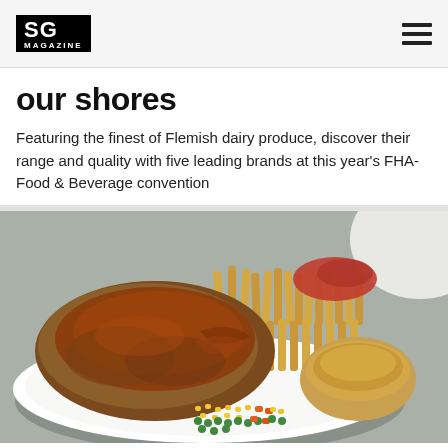SG MAGAZINE
our shores
Featuring the finest of Flemish dairy produce, discover their range and quality with five leading brands at this year's FHA-Food & Beverage convention
[Figure (photo): A white plate with food including meat with brown sauce, crinkle-cut french fries with ketchup, mixed vegetables (corn, peas, carrots), and a bread roll, on a stainless steel surface.]